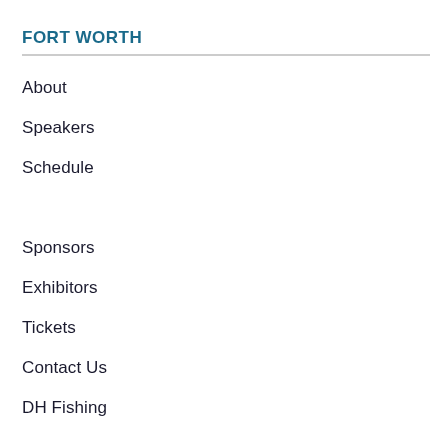FORT WORTH
About
Speakers
Schedule
Sponsors
Exhibitors
Tickets
Contact Us
DH Fishing